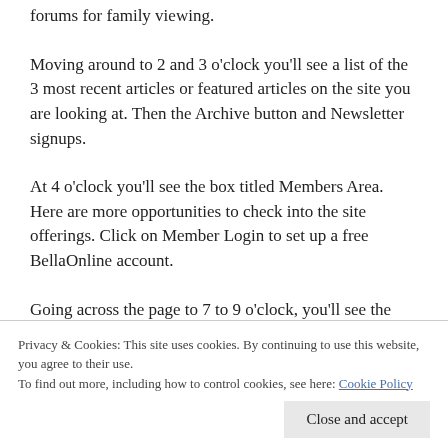forums for family viewing.
Moving around to 2 and 3 o'clock you'll see a list of the 3 most recent articles or featured articles on the site you are looking at. Then the Archive button and Newsletter signups.
At 4 o'clock you'll see the box titled Members Area. Here are more opportunities to check into the site offerings. Click on Member Login to set up a free BellaOnline account.
Going across the page to 7 to 9 o'clock, you'll see the
Privacy & Cookies: This site uses cookies. By continuing to use this website, you agree to their use.
To find out more, including how to control cookies, see here: Cookie Policy
click on a listing you'll find the sites dedicated to that